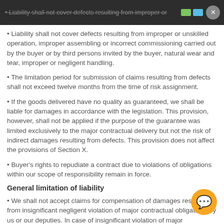• Liability shall not cover defects resulting from improper or
• Liability shall not cover defects resulting from improper or unskilled operation, improper assembling or incorrect commissioning carried out by the buyer or by third persons invited by the buyer, natural wear and tear, improper or negligent handling.
• The limitation period for submission of claims resulting from defects shall not exceed twelve months from the time of risk assignment.
• If the goods delivered have no quality as guaranteed, we shall be liable for damages in accordance with the legislation. This provision, however, shall not be applied if the purpose of the guarantee was limited exclusively to the major contractual delivery but not the risk of indirect damages resulting from defects. This provision does not affect the provisions of Section X.
• Buyer's rights to repudiate a contract due to violations of obligations within our scope of responsibility remain in force.
General limitation of liability
• We shall not accept claims for compensation of damages resulting from insignificant negligent violation of major contractual obligations by us or our deputies. In case of insignificant violation of major contractual obligations as a result of carelessness, our liability shall be limited by foreseeable damages usually taking place in such cases.